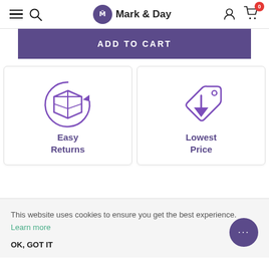Mark & Day — Navigation bar with hamburger menu, search, logo, user icon, and cart (0 items)
ADD TO CART
[Figure (illustration): Easy Returns icon: a box with a circular arrow indicating returns]
Easy Returns
[Figure (illustration): Lowest Price icon: a price tag with a downward arrow]
Lowest Price
This website uses cookies to ensure you get the best experience. Learn more
OK, GOT IT